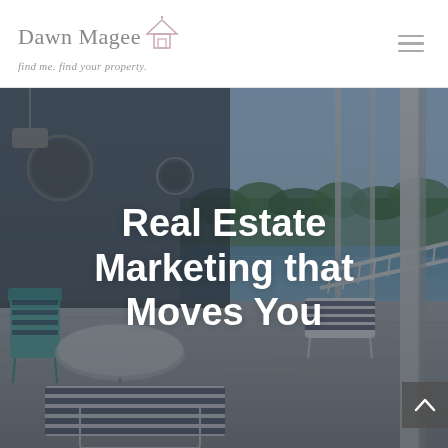Dawn Magee – find me. find your property.
[Figure (photo): A real estate website hero image showing a lakeside porch/deck with outdoor patio furniture (chairs and a table), striped cushions, white railings, sliding glass doors, and a view of water and trees in the background. Slightly muted/overcast lighting.]
Real Estate Marketing that Moves You